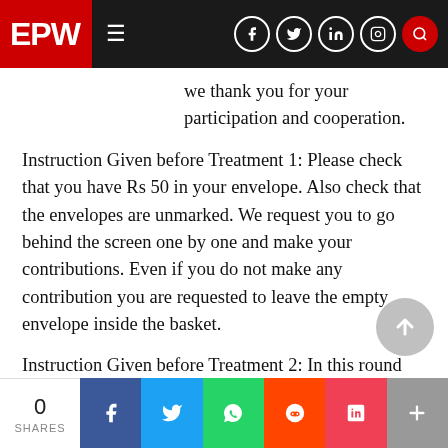EPW
we thank you for your participation and cooperation.
Instruction Given before Treatment 1: Please check that you have Rs 50 in your envelope. Also check that the envelopes are unmarked. We request you to go behind the screen one by one and make your contributions. Even if you do not make any contribution you are requested to leave the empty envelope inside the basket.
Instruction Given before Treatment 2: In this round we will give you envelopes which are numbered from 1 to 30. We will call out your
0 SHARES